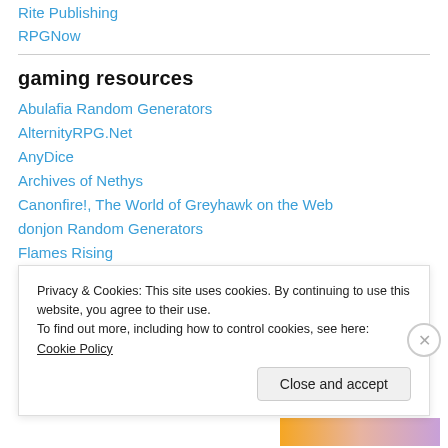Rite Publishing
RPGNow
gaming resources
Abulafia Random Generators
AlternityRPG.Net
AnyDice
Archives of Nethys
Canonfire!, The World of Greyhawk on the Web
donjon Random Generators
Flames Rising
Geek Related – The Site
Privacy & Cookies: This site uses cookies. By continuing to use this website, you agree to their use.
To find out more, including how to control cookies, see here: Cookie Policy